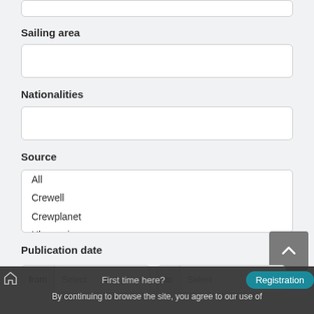(input field — top, cropped)
Sailing area
(text input field for Sailing area)
Nationalities
(text input field for Nationalities)
Source
All
Crewell
Crewplanet
Ukrcrewing
Maritimejobs... (partially visible)
Publication date
from  Select     to  Select
First time here?  Registration  By continuing to browse the site, you agree to our use of